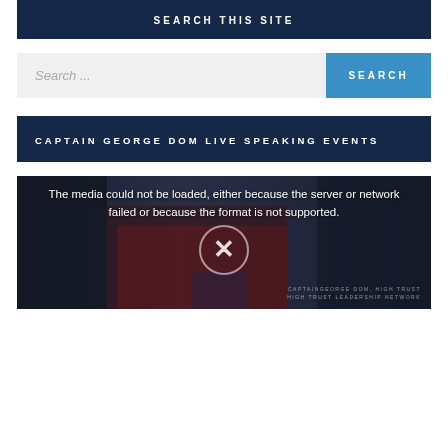SEARCH THIS SITE
[Figure (screenshot): Search input box with placeholder text 'Search ...' and a blue SEARCH button]
CAPTAIN GEORGE DOM LIVE SPEAKING EVENTS
[Figure (screenshot): Video player showing error: 'The media could not be loaded, either because the server or network failed or because the format is not supported.' with an X icon and background image of a speaking event. Watermark reads CAPTAINGEORGE DOM, HIGH TRUST LEADERSHIP NETWORK]